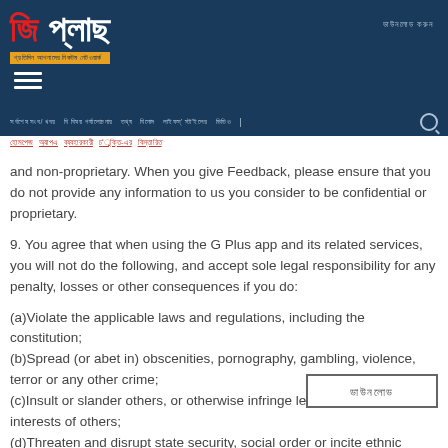G Plus app header with logo and navigation
and non-proprietary. When you give Feedback, please ensure that you do not provide any information to us you consider to be confidential or proprietary.
9. You agree that when using the G Plus app and its related services, you will not do the following, and accept sole legal responsibility for any penalty, losses or other consequences if you do:
(a)Violate the applicable laws and regulations, including the constitution;
(b)Spread (or abet in) obscenities, pornography, gambling, violence, terror or any other crime;
(c)Insult or slander others, or otherwise infringe legitimate rights and interests of others;
(d)Threaten and disrupt state security, social order or incite ethnic discrimination; and